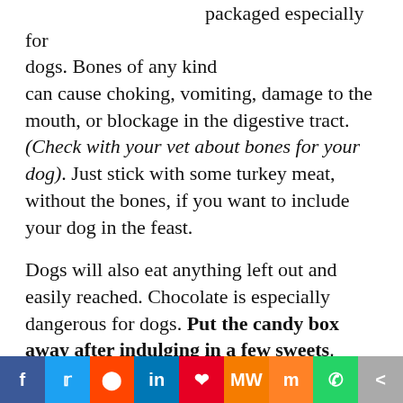packaged especially for dogs. Bones of any kind can cause choking, vomiting, damage to the mouth, or blockage in the digestive tract.(Check with your vet about bones for your dog). Just stick with some turkey meat, without the bones, if you want to include your dog in the feast.
Dogs will also eat anything left out and easily reached. Chocolate is especially dangerous for dogs. Put the candy box away after indulging in a few sweets.
Note: a few years ago, I had family over for Christmas dinner and we had a round of candies
[Figure (infographic): Social sharing bar with icons for Facebook, Twitter, Reddit, LinkedIn, Pinterest, MileWiki, Mix, WhatsApp, and More (share)]